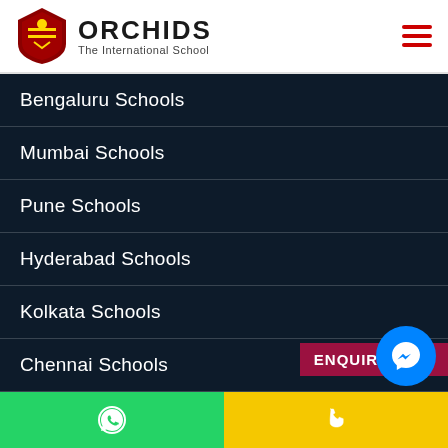[Figure (logo): Orchids The International School logo with red crest/shield and school name]
Bengaluru Schools
Mumbai Schools
Pune Schools
Hyderabad Schools
Kolkata Schools
Chennai Schools
Gurugram Schools
Aurangabad Schools
Nagpur Schools